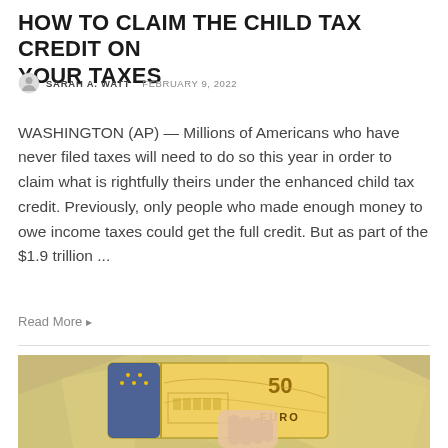HOW TO CLAIM THE CHILD TAX CREDIT ON YOUR TAXES
SARAH A. WATT  FEBRUARY 9, 2022
WASHINGTON (AP) — Millions of Americans who have never filed taxes will need to do so this year in order to claim what is rightfully theirs under the enhanced child tax credit. Previously, only people who made enough money to owe income taxes could get the full credit. But as part of the $1.9 trillion ...
Read More
[Figure (photo): A hand holding a 50 Euro banknote in front of a fan of Euro banknotes spread out in the background]